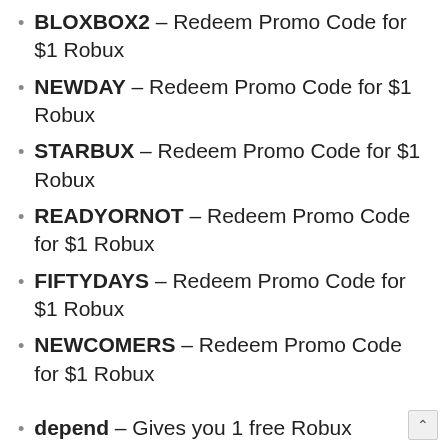BLOXBOX2 – Redeem Promo Code for $1 Robux
NEWDAY – Redeem Promo Code for $1 Robux
STARBUX – Redeem Promo Code for $1 Robux
READYORNOT – Redeem Promo Code for $1 Robux
FIFTYDAYS – Redeem Promo Code for $1 Robux
NEWCOMERS – Redeem Promo Code for $1 Robux
depend – Gives you 1 free Robux
wishes – Gives you 1 free Robux
wanna – Gives you 1 free Robux
grain – Gives you 1 free Robux
redeem – Gives you 1 free Robux